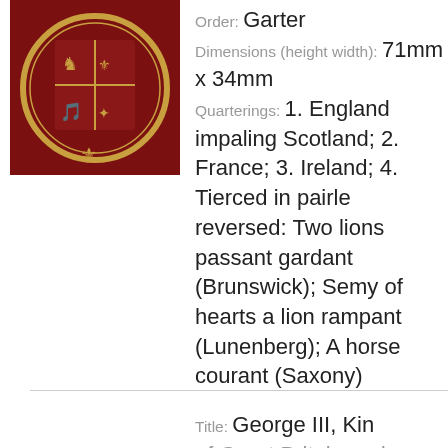[Figure (photo): A heraldic seal on dark red background showing a royal coat of arms with gold decorations including a harp, lions, and fleur-de-lis motifs.]
Order: Garter
Dimensions (height width): 71mm x 34mm
Quarterings: 1. England impaling Scotland; 2. France; 3. Ireland; 4. Tierced in pairle reversed: Two lions passant gardant (Brunswick); Semy of hearts a lion rampant (Lunenberg); A horse courant (Saxony)
Title: George III, King of Great Britain and